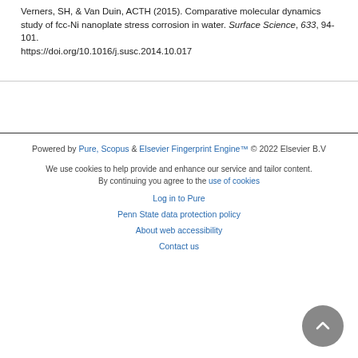Verners, SH, & Van Duin, ACTH (2015). Comparative molecular dynamics study of fcc-Ni nanoplate stress corrosion in water. Surface Science, 633, 94-101. https://doi.org/10.1016/j.susc.2014.10.017
Powered by Pure, Scopus & Elsevier Fingerprint Engine™ © 2022 Elsevier B.V
We use cookies to help provide and enhance our service and tailor content. By continuing you agree to the use of cookies
Log in to Pure
Penn State data protection policy
About web accessibility
Contact us